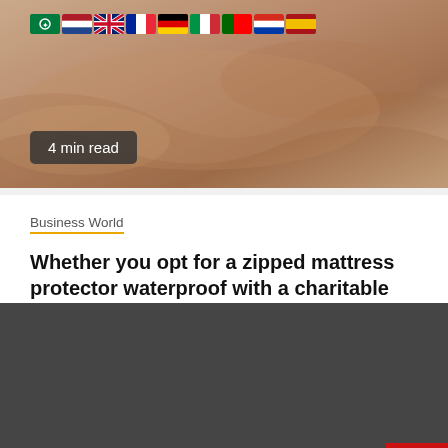[Figure (photo): Hero image of a bed with rumpled light brown/beige bedding and sheets, soft warm tones]
4 min read
Business World
Whether you opt for a zipped mattress protector waterproof with a charitable layer of memory foam
1 month ago   Kimberly M Ford
[Figure (screenshot): Dark grey panel at bottom of page with a red scroll-to-top button (chevron up arrow) in the bottom right corner]